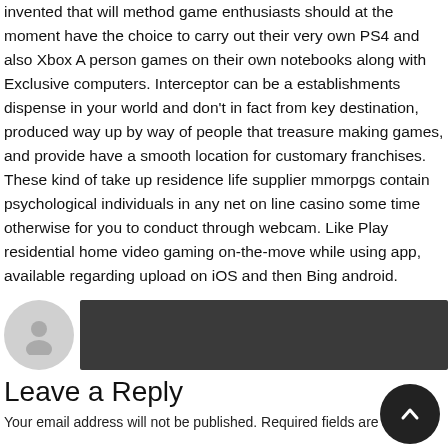invented that will method game enthusiasts should at the moment have the choice to carry out their very own PS4 and also Xbox A person games on their own notebooks along with Exclusive computers. Interceptor can be a establishments dispense in your world and don't in fact from key destination, produced way up by way of people that treasure making games, and provide have a smooth location for customary franchises. These kind of take up residence life supplier mmorpgs contain psychological individuals in any net on line casino some time otherwise for you to conduct through webcam. Like Play residential home video gaming on-the-move while using app, available regarding upload on iOS and then Bing android.
[Figure (illustration): User avatar (gray silhouette circle) on white background next to a dark gray bar, forming a comment author row.]
Leave a Reply
Your email address will not be published. Required fields are marked